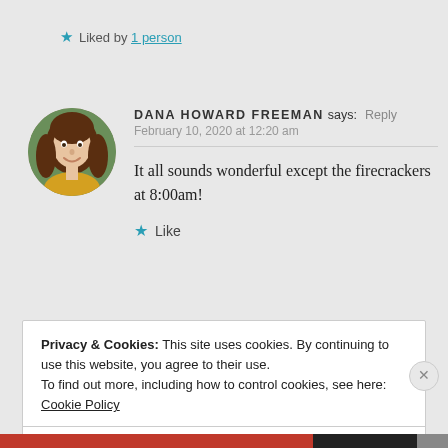★ Liked by 1 person
DANA HOWARD FREEMAN says: Reply
February 10, 2020 at 12:20 am
It all sounds wonderful except the firecrackers at 8:00am!
★ Like
Privacy & Cookies: This site uses cookies. By continuing to use this website, you agree to their use. To find out more, including how to control cookies, see here: Cookie Policy
Close and accept